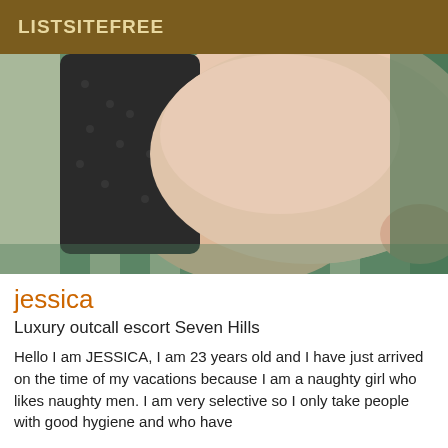LISTSITEFREE
[Figure (photo): Close-up photo of a person wearing black fishnet stockings lying on a green and white striped surface]
jessica
Luxury outcall escort Seven Hills
Hello I am JESSICA, I am 23 years old and I have just arrived on the time of my vacations because I am a naughty girl who likes naughty men. I am very selective so I only take people with good hygiene and who have